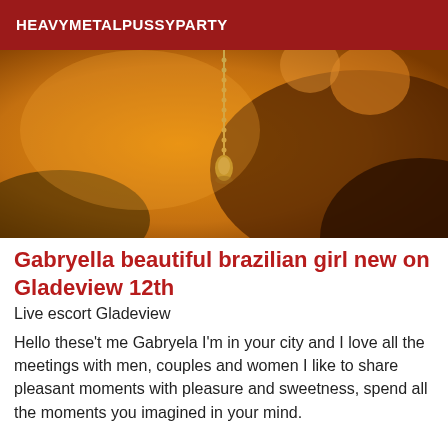HEAVYMETALPUSSYPARTY
[Figure (photo): Close-up photo with warm orange and tan tones, showing a gold ball-chain necklace with a pendant against skin and dark fabric background.]
Gabryella beautiful brazilian girl new on Gladeview 12th
Live escort Gladeview
Hello these't me Gabryela I'm in your city and I love all the meetings with men, couples and women I like to share pleasant moments with pleasure and sweetness, spend all the moments you imagined in your mind.